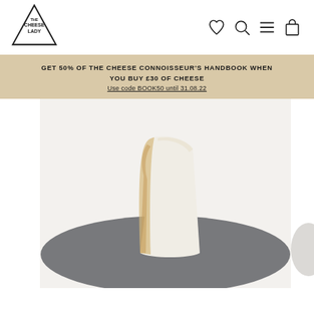[Figure (logo): The Cheese Lady logo: triangle shape with 'THE CHEESE LADY' text inside]
[Figure (other): Navigation icons: heart/wishlist, search magnifying glass, hamburger menu, shopping bag]
GET 50% OF THE CHEESE CONNOISSEUR'S HANDBOOK WHEN YOU BUY £30 OF CHEESE
Use code BOOK50 until 31.08.22
[Figure (photo): A wedge of white cheese on a dark grey slate board, white/cream background]